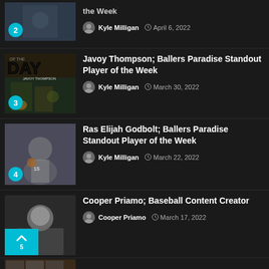the Week | Kyle Milligan | April 6, 2022
Javoy Thompson; Ballers Paradise Standout Player of the Week | Kyle Milligan | March 30, 2022
Ras Elijah Godbolt; Ballers Paradise Standout Player of the Week | Kyle Milligan | March 22, 2022
Cooper Priamo; Baseball Content Creator | Cooper Priamo | March 17, 2022